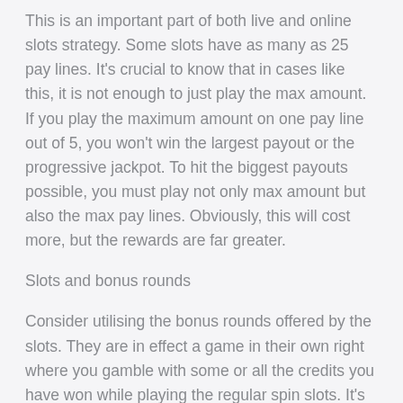This is an important part of both live and online slots strategy. Some slots have as many as 25 pay lines. It's crucial to know that in cases like this, it is not enough to just play the max amount. If you play the maximum amount on one pay line out of 5, you won't win the largest payout or the progressive jackpot. To hit the biggest payouts possible, you must play not only max amount but also the max pay lines. Obviously, this will cost more, but the rewards are far greater.
Slots and bonus rounds
Consider utilising the bonus rounds offered by the slots. They are in effect a game in their own right where you gamble with some or all the credits you have won while playing the regular spin slots. It's a bet that often pays even money, which makes it the best bet available to you while playing an online slot. However, while it gives you a decent chance of winning more credits, it also means there is a possibility of losing the credits you